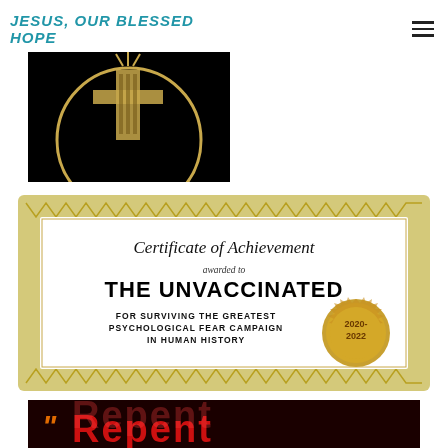JESUS, OUR BLESSED HOPE
[Figure (illustration): Partial black image with gold circular emblem, cross or candle design]
[Figure (illustration): Certificate of Achievement awarded to THE UNVACCINATED FOR SURVIVING THE GREATEST PSYCHOLOGICAL FEAR CAMPAIGN IN HUMAN HISTORY, dated 2020-2022, with gold decorative border and seal]
[Figure (illustration): Partial image on dark red/black background with stylized text, only top visible]